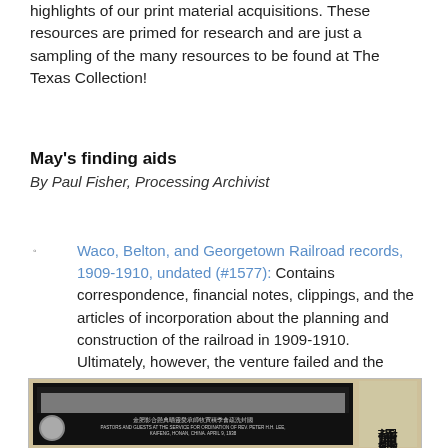highlights of our print material acquisitions. These resources are primed for research and are just a sampling of the many resources to be found at The Texas Collection!
May's finding aids
By Paul Fisher, Processing Archivist
Waco, Belton, and Georgetown Railroad records, 1909-1910, undated (#1577): Contains correspondence, financial notes, clippings, and the articles of incorporation about the planning and construction of the railroad in 1909-1910. Ultimately, however, the venture failed and the railroad was not completed.
[Figure (photo): Black and white historical photograph of a building, likely in China, with Chinese characters (kanji) on the right side reading vertically. A caption band at the bottom of the photo reads: 'PASTORS AND GUESTS AT THE SERVICE FOR ORDINATION OF REV. PETER H.H. LEE, KAIFENG, HONAN, CHINA. APRIL 9, 1938'. The photo has a decorative border and is mounted on aged paper. A circular element is visible at the lower left.]